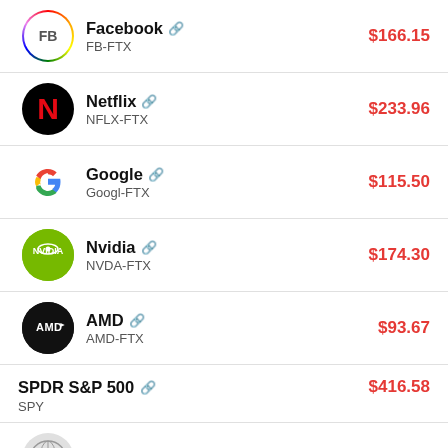Facebook FB-FTX $166.15
Netflix NFLX-FTX $233.96
Google Googl-FTX $115.50
Nvidia NVDA-FTX $174.30
AMD AMD-FTX $93.67
SPDR S&P 500 SPY $416.58
Trivia Genius... $00.00